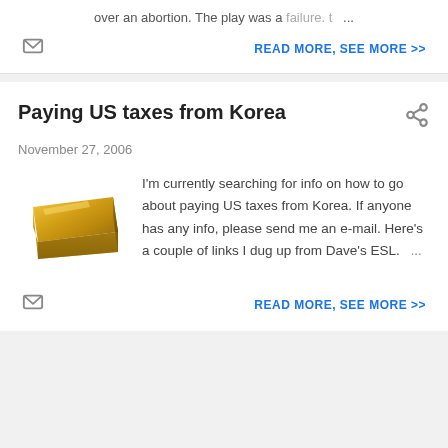over an abortion. The play was a failure. t ...
[Figure (other): Email/envelope icon (gray)]
READ MORE, SEE MORE >>
Paying US taxes from Korea
[Figure (other): Share icon (gray)]
November 27, 2006
[Figure (photo): A gold bar/ingot]
I'm currently searching for info on how to go about paying US taxes from Korea. If anyone has any info, please send me an e-mail. Here's a couple of links I dug up from Dave's ESL. ...
[Figure (other): Email/envelope icon (gray)]
READ MORE, SEE MORE >>